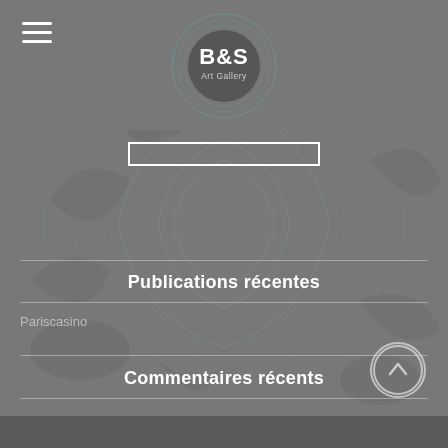[Figure (logo): B&S Art Gallery circular logo with concentric ring decorations, white text on dark circle background]
Publications récentes
Pariscasino
Commentaires récents